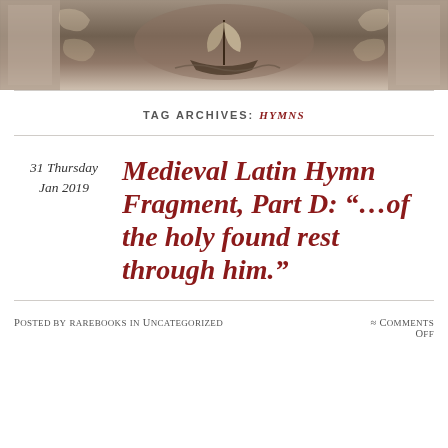[Figure (illustration): Decorative banner illustration featuring a historical engraving with a ship, architectural elements, and ornate designs in sepia/brown tones]
TAG ARCHIVES: HYMNS
31 Thursday Jan 2019
Medieval Latin Hymn Fragment, Part D: “…of the holy found rest through him.”
Posted by rarebooks in Uncategorized ≈ Comments Off